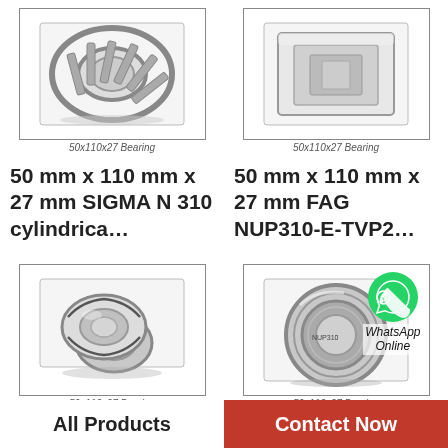[Figure (photo): 50x110x27 cylindrical roller bearing product image, top-left]
50x110x27 Bearing
[Figure (photo): 50x110x27 NUP bearing product image, top-right]
50x110x27 Bearing
50 mm x 110 mm x 27 mm SIGMA N 310 cylindrica…
50 mm x 110 mm x 27 mm FAG NUP310-E-TVP2…
[Figure (photo): 50x110x27 sealed ball bearing product image, bottom-left]
50x110x27 Bearing
[Figure (photo): 50x110x27 large bearing with WhatsApp overlay, bottom-right]
50x110x27 Bearing
50 mm x 110 mm x 27 mm
50.000 mm x 110.000 mm x
All Products
Contact Now